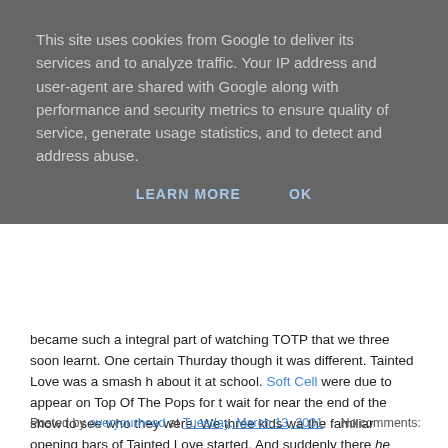This site uses cookies from Google to deliver its services and to analyze traffic. Your IP address and user-agent are shared with Google along with performance and security metrics to ensure quality of service, generate usage statistics, and to detect and address abuse.
LEARN MORE   OK
became such a integral part of watching TOTP that we three soon learnt. One certain Thurday though it was different. Tainted Love was a smash h... about it at school. Soft Cell were due to appear on Top Of The Pops for t... wait for near the end of the show to see who they were. We three kids wa... the familiar opening bars of Tainted Love started. And suddenly there he (horror of horrors) makeup on. Only women wear makeup we thought. A... sink a battleship. He was thin, pale and hitting all the wrong notes. We lo... come into our lives. Strangely throughout the song we didn't hear a peep... had finished but we had heard no tutting, no paper rustling and ceratinly... had missed it, being too engrossed in something he was reading. Perhap... Perhaps we secretly admired that little waif, that little stray, that little diva... alright. He was just trying to find the words. Trying to think of what to say... Almost as a matter of fact. "All that man needs is tits!" We all laughed.
Posted by overyourhead at Tuesday, March 13, 2001   No comments: